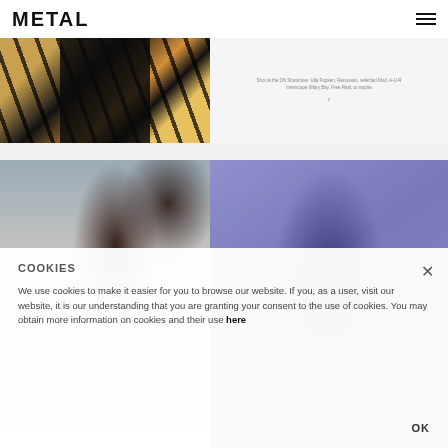METAL
[Figure (photo): Fashion photo showing tiger-print garment on left, text caption on right]
[Figure (photo): Fashion photo of woman with dark hair and pink lips on left; woman in blue/purple on right]
COOKIES
We use cookies to make it easier for you to browse our website. If you, as a user, visit our website, it is our understanding that you are granting your consent to the use of cookies. You may obtain more information on cookies and their use here
OK